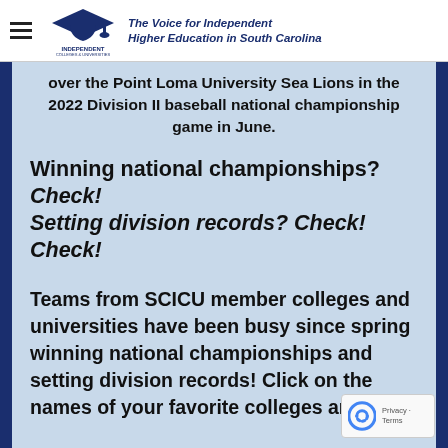The Voice for Independent Higher Education in South Carolina
over the Point Loma University Sea Lions in the 2022 Division II baseball national championship game in June.
Winning national championships? Check! Setting division records? Check! Check!
Teams from SCICU member colleges and universities have been busy since spring winning national championships and setting division records! Click on the names of your favorite colleges and universities to read the latest news.